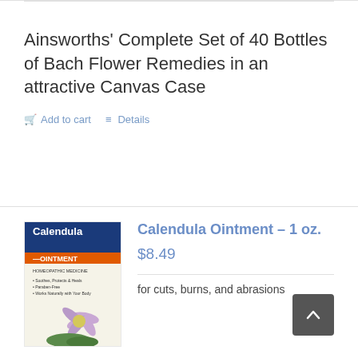Ainsworths' Complete Set of 40 Bottles of Bach Flower Remedies in an attractive Canvas Case
Add to cart
Details
[Figure (photo): Calendula Ointment product box showing purple flower, labeled Homeopathic Medicine, Soothes Protects & Heals, Paraben-Free, Works Naturally with Your Body]
Calendula Ointment – 1 oz.
$8.49
for cuts, burns, and abrasions